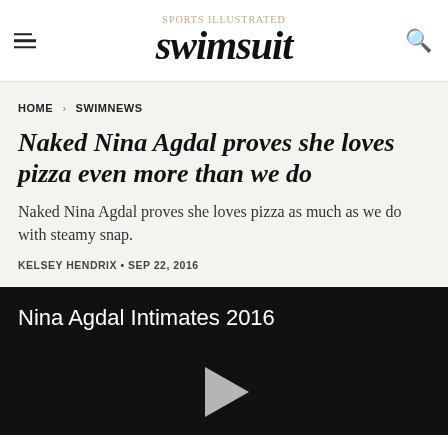Sports Illustrated Swimsuit
HOME > SWIMNEWS
Naked Nina Agdal proves she loves pizza even more than we do
Naked Nina Agdal proves she loves pizza as much as we do with steamy snap.
KELSEY HENDRIX • SEP 22, 2016
[Figure (screenshot): Video section with dark background showing title 'Nina Agdal Intimates 2016' and a play button arrow at the bottom center]